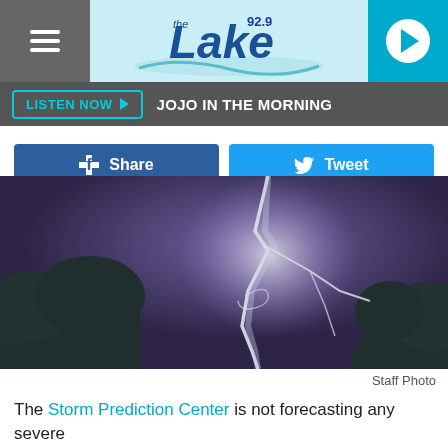92.9 The Lake — LISTEN NOW ▶ JOJO IN THE MORNING
f Share   🐦 Tweet
[Figure (photo): Dramatic lightning strike over trees at night with purple/dark sky background]
Staff Photo
The Storm Prediction Center is not forecasting any severe